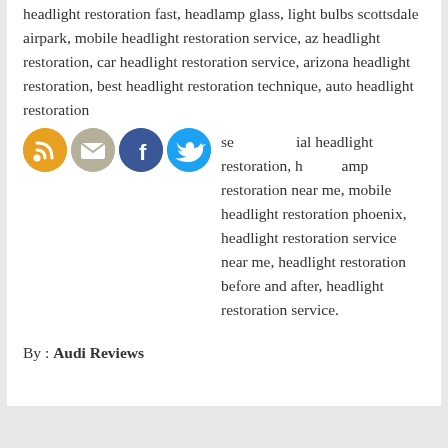headlight restoration fast, headlamp glass, light bulbs scottsdale airpark, mobile headlight restoration service, az headlight restoration, car headlight restoration service, arizona headlight restoration, best headlight restoration technique, auto headlight restoration service, commercial headlight restoration, headlamp restoration near me, mobile headlight restoration phoenix, headlight restoration service near me, headlight restoration before and after, headlight restoration service.
[Figure (infographic): Four circular social media icons in a row: RSS (orange), Email (gray/tan), Facebook (blue), Twitter (light blue)]
By : Audi Reviews